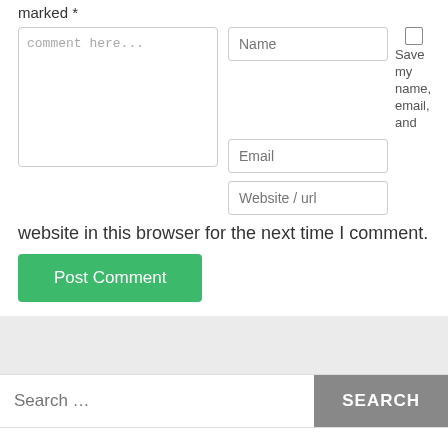marked *
[Figure (screenshot): Comment form with textarea placeholder 'comment here...', Name, Email, Website/url input fields, a checkbox for saving name/email/website in browser, a green Post Comment button, a search bar with SEARCH button, and a Recent Posts section header.]
website in this browser for the next time I comment.
Post Comment
Search …
Recent Posts
Space Racer APK (MOD, Unlimited Money) 5.8.3